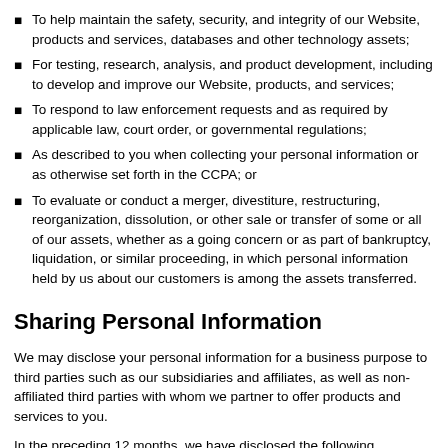To help maintain the safety, security, and integrity of our Website, products and services, databases and other technology assets;
For testing, research, analysis, and product development, including to develop and improve our Website, products, and services;
To respond to law enforcement requests and as required by applicable law, court order, or governmental regulations;
As described to you when collecting your personal information or as otherwise set forth in the CCPA; or
To evaluate or conduct a merger, divestiture, restructuring, reorganization, dissolution, or other sale or transfer of some or all of our assets, whether as a going concern or as part of bankruptcy, liquidation, or similar proceeding, in which personal information held by us about our customers is among the assets transferred.
Sharing Personal Information
We may disclose your personal information for a business purpose to third parties such as our subsidiaries and affiliates, as well as non-affiliated third parties with whom we partner to offer products and services to you.
In the preceding 12 months, we have disclosed the following categories of personal information for a business purpose to the third parties